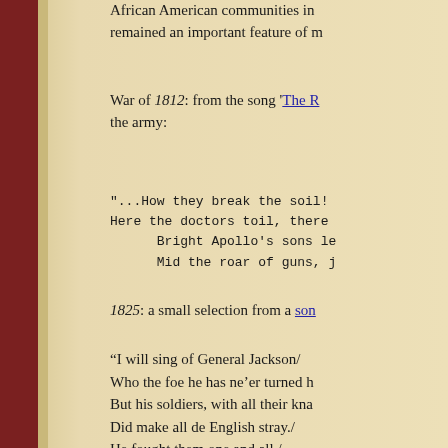African American communities in... remained an important feature of m...
War of 1812: from the song 'The R...' the army:
"...How they break the soil! Here the doctors toil, there... Bright Apollo's sons le... Mid the roar of guns, j...
1825: a small selection from a son...
“I will sing of General Jackson/ Who the foe he has ne’er turned h... But his soldiers, with all their kna... Did make all de English stray./ He fought them one and all,/ And his courage was not very sma... For he cut them with his sabre,/ And their backs he did belabour;/ Then we’ll sound the pipe and ta... Hurrah! Hurrah! Hurrah!—Hurrah...